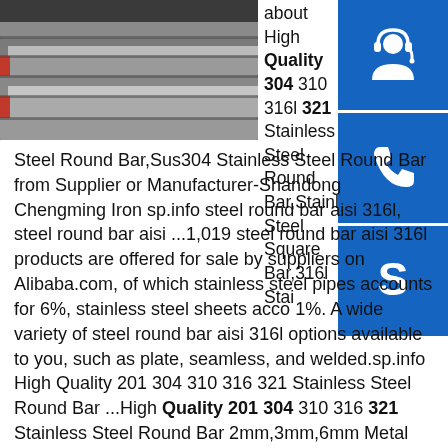[Figure (photo): Stacked steel flat bars/plates in industrial setting]
[Figure (infographic): Three blue icon boxes on right side: headset/customer service icon, phone icon, Skype icon]
about High Quality 304 310 316l 321 Stainless Steel Round Bar,Stainless Steel Square Bar,316l Stainless Steel Round Bar,Sus304 Stainless Steel Round Bar from Supplier or Manufacturer-Shandong Chengming Iron sp.info steel round bar aisi 316l, steel round bar aisi ...1,019 steel round bar aisi 316l products are offered for sale by suppliers on Alibaba.com, of which stainless steel pipes accounts for 6%, stainless steel sheets acco 1%. A wide variety of steel round bar aisi 316l options available to you, such as plate, seamless, and welded.sp.info High Quality 201 304 310 316 321 Stainless Steel Round Bar ...High Quality 201 304 310 316 321 Stainless Steel Round Bar 2mm,3mm,6mm Metal Rod , Find Complete Details about High Quality 201 304 310 316 321 Stainless Steel Round Bar 2mm,3mm,6mm Metal Rod,Stainless Steel Bar,304 Stainless Steel Round Bar,316 Stainless Steel Round Bar from Stainless Steel